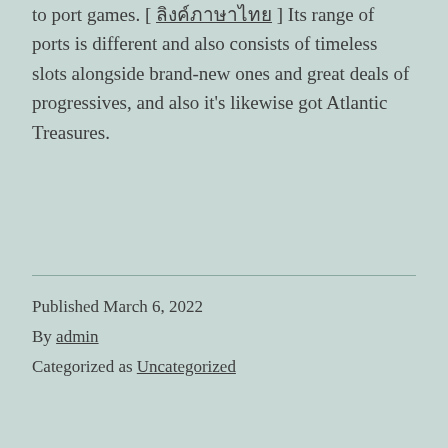to port games. [ ลิงค์ภาษาไทย ] Its range of ports is different and also consists of timeless slots alongside brand-new ones and great deals of progressives, and also it's likewise got Atlantic Treasures.
Published March 6, 2022
By admin
Categorized as Uncategorized